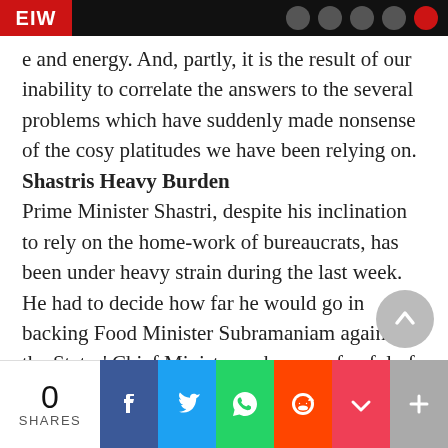EIW [header bar with logo and icons]
e and energy. And, partly, it is the result of our inability to correlate the answers to the several problems which have suddenly made nonsense of the cosy platitudes we have been relying on.
Shastris Heavy Burden
Prime Minister Shastri, despite his inclination to rely on the home-work of bureaucrats, has been under heavy strain during the last week. He had to decide how far he would go in backing Food Minister Subramaniam against the States' Chief Ministers who were fearful of introducing a rationing system in the main cities. He was, i
0 SHARES | Facebook | Twitter | WhatsApp | Reddit | Pocket | +